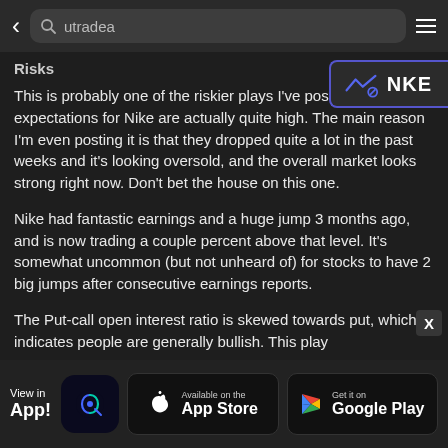utradea (search bar)
[Figure (logo): NKE stock badge with chart icon and NKE label]
Risks
This is probably one of the riskier plays I've posted since expectations for Nike are actually quite high. The main reason I'm even posting it is that they dropped quite a lot in the past weeks and it's looking oversold, and the overall market looks strong right now. Don't bet the house on this one.
Nike had fantastic earnings and a huge jump 3 months ago, and is now trading a couple percent above that level. It's somewhat uncommon (but not unheard of) for stocks to have 2 big jumps after consecutive earnings reports.
The Put-call open interest ratio is skewed towards put, which indicates people are generally bullish. This play
View in App! | App Store | Google Play